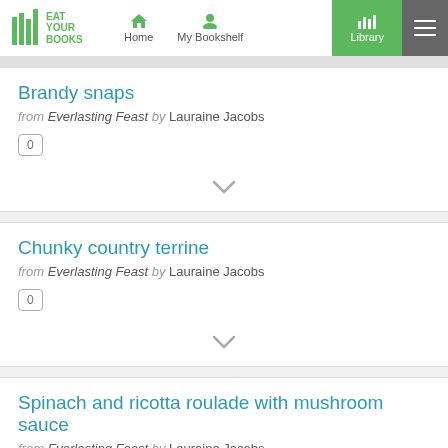Eat Your Books — Home | My Bookshelf | Library
Brandy snaps from Everlasting Feast by Lauraine Jacobs
Chunky country terrine from Everlasting Feast by Lauraine Jacobs
Spinach and ricotta roulade with mushroom sauce from Everlasting Feast by Lauraine Jacobs